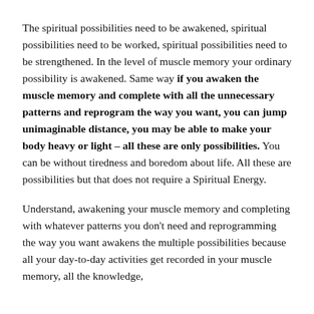The spiritual possibilities need to be awakened, spiritual possibilities need to be worked, spiritual possibilities need to be strengthened. In the level of muscle memory your ordinary possibility is awakened. Same way if you awaken the muscle memory and complete with all the unnecessary patterns and reprogram the way you want, you can jump unimaginable distance, you may be able to make your body heavy or light – all these are only possibilities. You can be without tiredness and boredom about life. All these are possibilities but that does not require a Spiritual Energy.
Understand, awakening your muscle memory and completing with whatever patterns you don't need and reprogramming the way you want awakens the multiple possibilities because all your day-to-day activities get recorded in your muscle memory, all the knowledge,